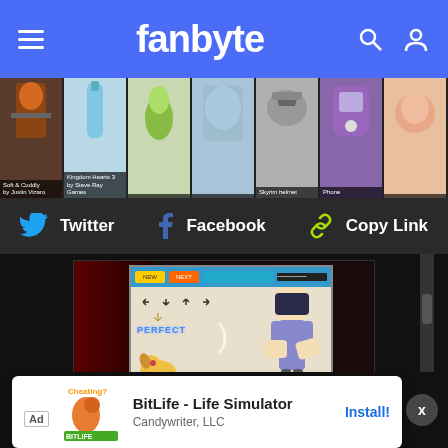fanbyte
[Figure (screenshot): Horizontal thumbnail strip showing game cover images including characters, items, and game art]
[Figure (screenshot): Social share bar with Twitter, Facebook, and Copy Link options on dark background]
[Figure (screenshot): Video player area showing a rhythm game screenshot with arrow keys and anime character, on black background]
[Figure (screenshot): Ad banner for BitLife - Life Simulator by Candywriter, LLC with Install button]